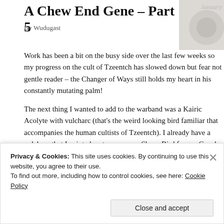A Chew End Gene – Part 5
By Wudugast
Work has been a bit on the busy side over the last few weeks so my progress on the cult of Tzeentch has slowed down but fear not gentle reader – the Changer of Ways still holds my heart in his constantly mutating palm!
The next thing I wanted to add to the warband was a Kairic Acolyte with vulcharc (that's the weird looking bird familiar that accompanies the human cultists of Tzeentch). I already have a vulcharc that I painted up to serve as a Sheen Bird for my Cawdor gang in Necromunda so now it can do double duty and return to the role its creators originally intended for it amongst the Kairics.
[Figure (photo): A dark background photo showing a fantasy miniature figure, partially visible — appears to be a skeletal or mutated creature with clawed/taloned hands, blue-grey tones.]
Privacy & Cookies: This site uses cookies. By continuing to use this website, you agree to their use.
To find out more, including how to control cookies, see here: Cookie Policy
Close and accept